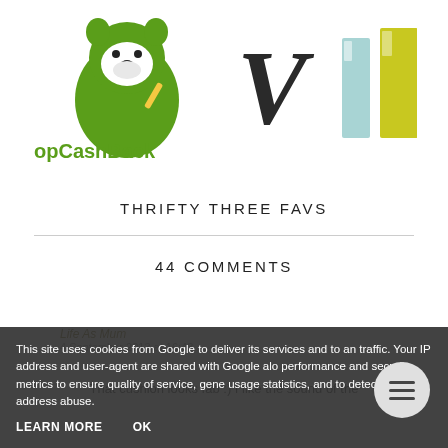[Figure (logo): TopCashBack logo with green bear/squirrel mascot and green text 'opCashBack']
[Figure (logo): VIP logo with large black V, light blue I, and yellow P 3D block letters]
THRIFTY THREE FAVS
44 COMMENTS
Life As Mum
4 September 2013 at 16:43
That cushion looks fab :) I like the sound of the
This site uses cookies from Google to deliver its services and to an traffic. Your IP address and user-agent are shared with Google alo performance and security metrics to ensure quality of service, gene usage statistics, and to detect and address abuse.
LEARN MORE
OK